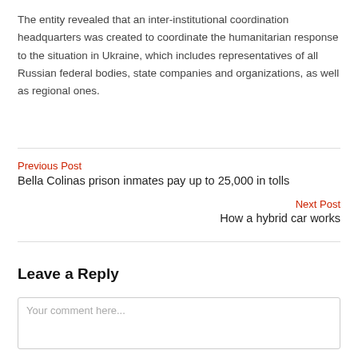The entity revealed that an inter-institutional coordination headquarters was created to coordinate the humanitarian response to the situation in Ukraine, which includes representatives of all Russian federal bodies, state companies and organizations, as well as regional ones.
Previous Post
Bella Colinas prison inmates pay up to 25,000 in tolls
Next Post
How a hybrid car works
Leave a Reply